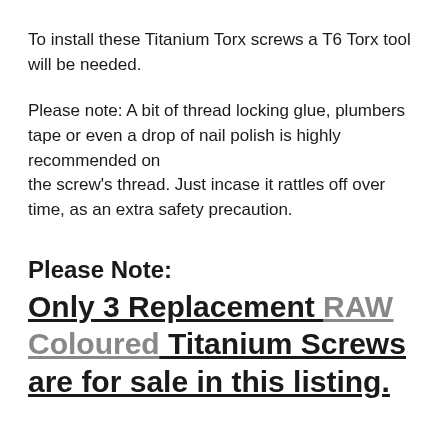To install these Titanium Torx screws a T6 Torx tool will be needed.
Please note: A bit of thread locking glue, plumbers tape or even a drop of nail polish is highly recommended on the screw's thread. Just incase it rattles off over time, as an extra safety precaution.
Please Note: Only 3 Replacement RAW Coloured Titanium Screws are for sale in this listing.